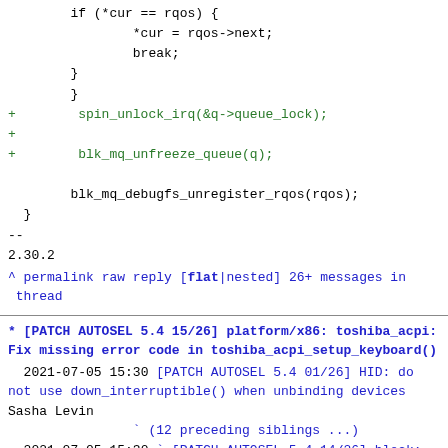code block showing diff with spin_unlock_irq, blk_mq_unfreeze_queue, blk_mq_debugfs_unregister_rqos
-- 2.30.2
^ permalink raw reply [flat|nested] 26+ messages in thread
* [PATCH AUTOSEL 5.4 15/26] platform/x86: toshiba_acpi: Fix missing error code in toshiba_acpi_setup_keyboard()
2021-07-05 15:30 [PATCH AUTOSEL 5.4 01/26] HID: do not use down_interruptible() when unbinding devices Sasha Levin
(12 preceding siblings ...)
2021-07-05 15:30 ` [PATCH AUTOSEL 5.4 14/26] block: fix race between adding/removing rq qos and normal IO Sasha Levin
@ 2021-07-05 15:30 ` Sasha Levin
2021-07-05 15:30 ` [PATCH AUTOSEL 5.4 16/26] nvmet-